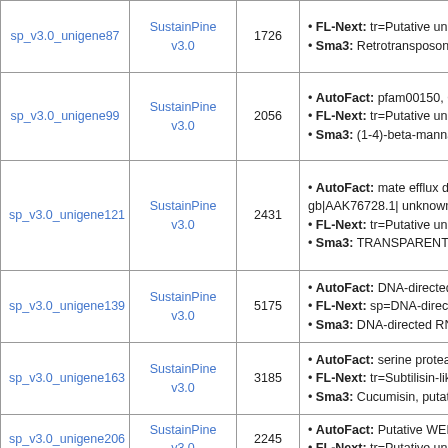| ID | Source | Length | Annotations |
| --- | --- | --- | --- |
| sp_v3.0_unigene87 | SustainPine v3.0 | 1726 | • FL-Next: tr=Putative uncl
• Sma3: Retrotransposon p |
| sp_v3.0_unigene99 | SustainPine v3.0 | 2056 | • AutoFact: pfam00150, C
• FL-Next: tr=Putative uncl
• Sma3: (1-4)-beta-manna |
| sp_v3.0_unigene121 | SustainPine v3.0 | 2431 | • AutoFact: mate efflux do gb|AAK76728.1| unknown
• FL-Next: tr=Putative uncl
• Sma3: TRANSPARENT T |
| sp_v3.0_unigene139 | SustainPine v3.0 | 5175 | • AutoFact: DNA-directed
• FL-Next: sp=DNA-directe
• Sma3: DNA-directed RNA |
| sp_v3.0_unigene163 | SustainPine v3.0 | 3185 | • AutoFact: serine proteas
• FL-Next: tr=Subtilisin-like
• Sma3: Cucumisin, putativ |
| sp_v3.0_unigene206 | SustainPine v3.0 | 2245 | • AutoFact: Putative WEE
• FL-Next: tr=Putative uncl |